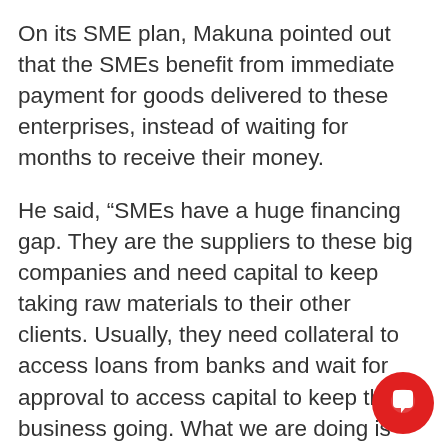On its SME plan, Makuna pointed out that the SMEs benefit from immediate payment for goods delivered to these enterprises, instead of waiting for months to receive their money.
He said, “SMEs have a huge financing gap. They are the suppliers to these big companies and need capital to keep taking raw materials to their other clients. Usually, they need collateral to access loans from banks and wait for approval to access capital to keep their business going. What we are doing is ensuring that they get paid not long after they deliver goods to partner enterprises for a 0.5 per cent origination fee.